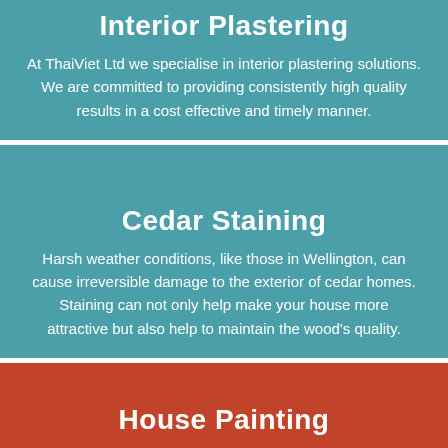Interior Plastering
At ThaiViet Ltd we specialise in interior plastering solutions. We are committed to providing consistently high quality results in a cost effective and timely manner.
Cedar Staining
Harsh weather conditions, like those in Wellington, can cause irreversible damage to the exterior of cedar homes. Staining can not only help make your house more attractive but also help to maintain the wood's quality.
House Painting